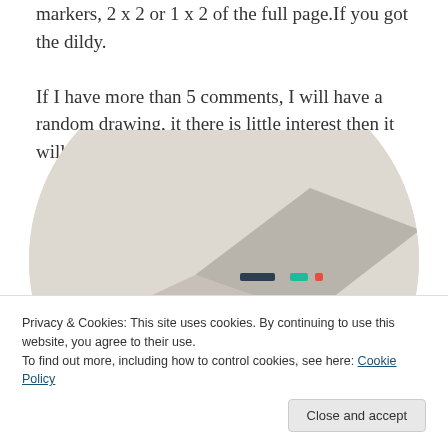markers, 2 x 2 or 1 x 2 of the full page. If you got the dildy. If I have more than 5 comments, I will have a random drawing, it there is little interest then it will be a small, personal celebration.
[Figure (photo): A circular-cropped photo showing a decorative box or folder with colorful heart patterns on a light background]
Privacy & Cookies: This site uses cookies. By continuing to use this website, you agree to their use.
To find out more, including how to control cookies, see here: Cookie Policy